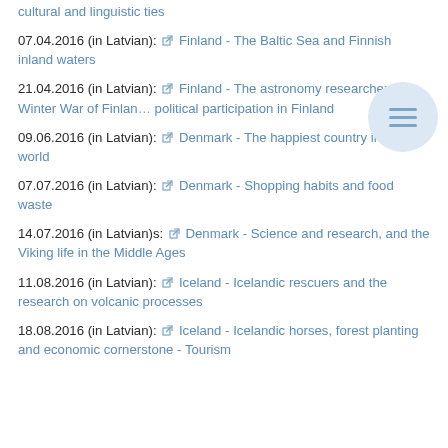cultural and linguistic ties
07.04.2016 (in Latvian): Finland - The Baltic Sea and Finnish inland waters
21.04.2016 (in Latvian): Finland - The astronomy researchers, the Winter War of Finland, political participation in Finland
09.06.2016 (in Latvian): Denmark - The happiest country in the world
07.07.2016 (in Latvian): Denmark - Shopping habits and food waste
14.07.2016 (in Latvian)s: Denmark - Science and research, and the Viking life in the Middle Ages
11.08.2016 (in Latvian): Iceland - Icelandic rescuers and the research on volcanic processes
18.08.2016 (in Latvian): Iceland - Icelandic horses, forest planting and economic cornerstone - Tourism